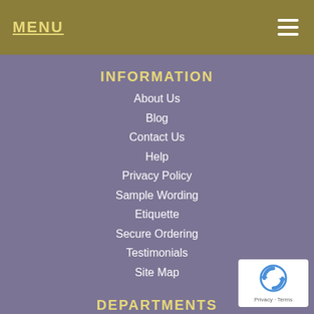MENU
INFORMATION
About Us
Blog
Contact Us
Help
Privacy Policy
Sample Wording
Etiquette
Secure Ordering
Testimonials
Site Map
DEPARTMENTS
Baby
Graduation
Holiday
Party
Quinceañera
[Figure (logo): reCAPTCHA badge with blue circular arrow icon and Privacy - Terms text]